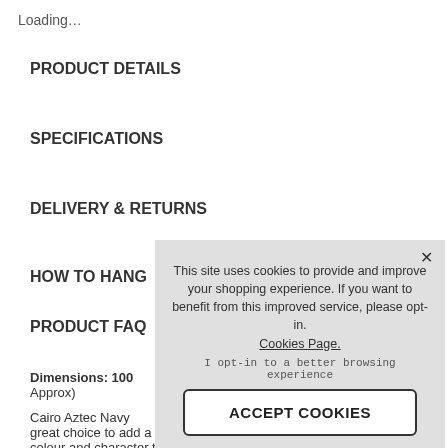Loading…
PRODUCT DETAILS
SPECIFICATIONS
DELIVERY & RETURNS
HOW TO HANG
PRODUCT FAQ
Dimensions: 100… Approx)
Cairo Aztec Navy… great choice to add a little bit of colour and character to any
This site uses cookies to provide and improve your shopping experience. If you want to benefit from this improved service, please opt-in. Cookies Page.

I opt-in to a better browsing experience

ACCEPT COOKIES